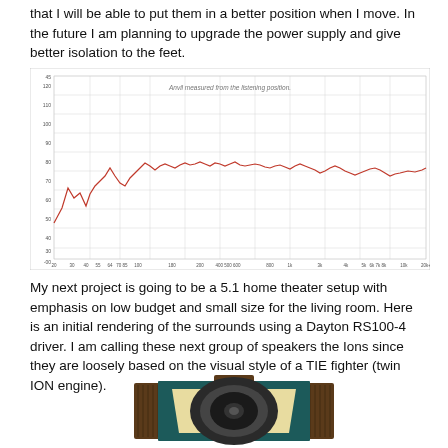that I will be able to put them in a better position when I move. In the future I am planning to upgrade the power supply and give better isolation to the feet.
[Figure (continuous-plot): Frequency response measurement chart titled 'Anvil measured from the listening position.' Shows a red line plot of SPL (dB) vs frequency (Hz) from approximately 20 Hz to 20kHz. The y-axis ranges from about 40 to 120 dB with gridlines. The response is relatively flat around 85-95 dB with peaks and dips especially in lower frequencies.]
My next project is going to be a 5.1 home theater setup with emphasis on low budget and small size for the living room. Here is an initial rendering of the surrounds using a Dayton RS100-4 driver. I am calling these next group of speakers the Ions since they are loosely based on the visual style of a TIE fighter (twin ION engine).
[Figure (illustration): A 3D rendering of a speaker enclosure. The design shows a boxy wooden cabinet with dark wood grain sides (brown/walnut), a teal/dark green front baffle surround, and a cream/beige angled front panel with an oval/round driver cutout. A circular speaker driver is visible in the center. The design resembles a TIE fighter panel shape.]